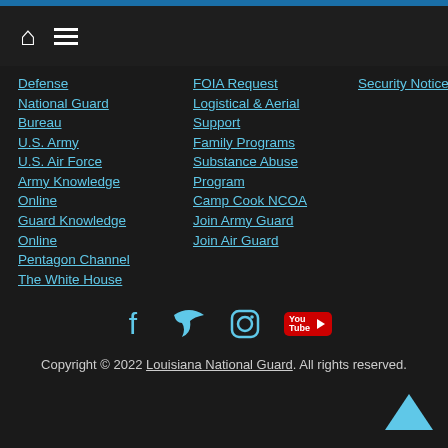Navigation bar with home and menu icons
Defense
National Guard Bureau
U.S. Army
U.S. Air Force
Army Knowledge Online
Guard Knowledge Online
Pentagon Channel
The White House
FOIA Request
Logistical & Aerial Support
Family Programs
Substance Abuse Program
Camp Cook NCOA
Join Army Guard
Join Air Guard
Security Notice
[Figure (infographic): Social media icons: Facebook, Twitter, Instagram, YouTube]
Copyright © 2022 Louisiana National Guard. All rights reserved.